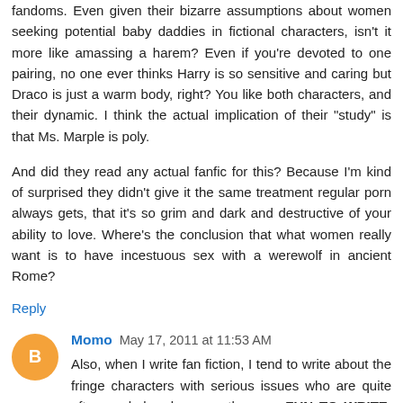fandoms. Even given their bizarre assumptions about women seeking potential baby daddies in fictional characters, isn't it more like amassing a harem? Even if you're devoted to one pairing, no one ever thinks Harry is so sensitive and caring but Draco is just a warm body, right? You like both characters, and their dynamic. I think the actual implication of their "study" is that Ms. Marple is poly.
And did they read any actual fanfic for this? Because I'm kind of surprised they didn't give it the same treatment regular porn always gets, that it's so grim and dark and destructive of your ability to love. Where's the conclusion that what women really want is to have incestuous sex with a werewolf in ancient Rome?
Reply
Momo  May 17, 2011 at 11:53 AM
Also, when I write fan fiction, I tend to write about the fringe characters with serious issues who are quite often assholes, because they are FUN TO WRITE. Generally